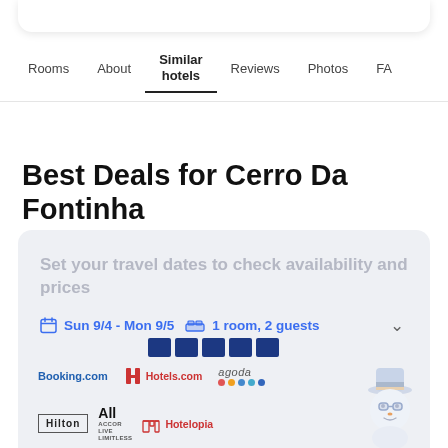Rooms | About | Similar hotels | Reviews | Photos | FA…
Best Deals for Cerro Da Fontinha
Set your travel dates to check availability and prices
Sun 9/4 - Mon 9/5   1 room, 2 guests
[Figure (screenshot): Hotel booking partner logos: Booking.com, Hotels.com, agoda, Hilton, All Accor Live Limitless, Hotelopia, and a cartoon snowman mascot]
[Figure (logo): Row of five blue square icons (Hotels.com style)]